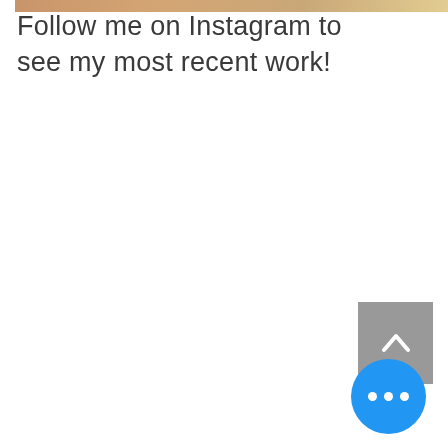[Figure (photo): Partial photo strip at top edge, warm toned food/craft photograph]
Follow me on Instagram to see my most recent work!
[Figure (other): Gray back-to-top button with upward chevron arrow]
[Figure (other): Blue circular FAB button with three white dots (ellipsis/more options)]